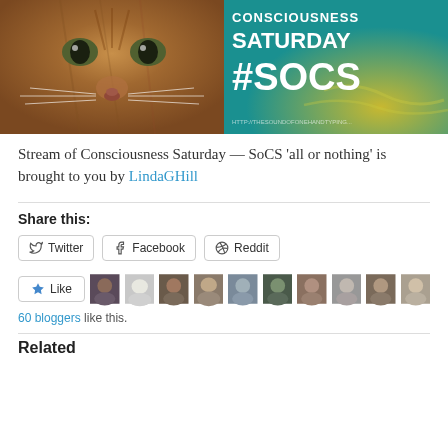[Figure (photo): Two images side by side: left is a close-up photo of a tabby cat's face; right is a teal banner reading 'Consciousness Saturday #SOCS' with a URL at the bottom.]
Stream of Consciousness Saturday — SoCS 'all or nothing' is brought to you by LindaGHill
Share this:
[Figure (infographic): Share buttons: Twitter, Facebook, Reddit]
[Figure (infographic): Like button with star icon, followed by 10 blogger avatars. Text below: '60 bloggers like this.']
Related